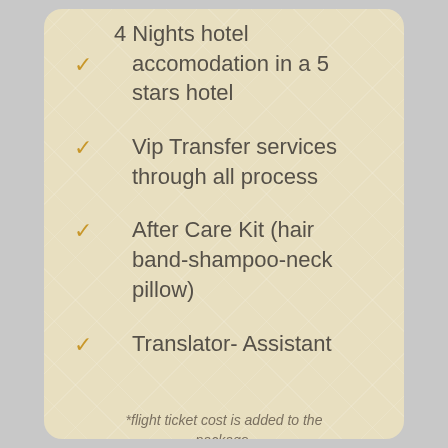4 Nights hotel accomodation in a 5 stars hotel
Vip Transfer services through all process
After Care Kit (hair band-shampoo-neck pillow)
Translator- Assistant
*flight ticket cost is added to the package.